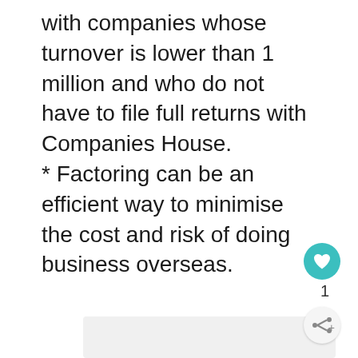with companies whose turnover is lower than 1 million and who do not have to file full returns with Companies House. * Factoring can be an efficient way to minimise the cost and risk of doing business overseas.
[Figure (other): Grey placeholder box with a teal heart/like button showing count 1, and a share button below it]